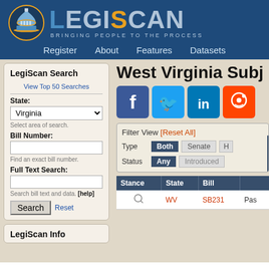LegiScan — Bringing People To The Process | Register | About | Features | Datasets
West Virginia Subj
LegiScan Search
View Top 50 Searches
State: Virginia
Select area of search.
Bill Number:
Find an exact bill number.
Full Text Search:
Search bill text and data. [help]
Filter View [Reset All] — Type: Both | Senate | H — Status: Any | Introduced
| Stance | State | Bill |  |
| --- | --- | --- | --- |
| 🔍 | WV | SB231 | Pas |
LegiScan Info